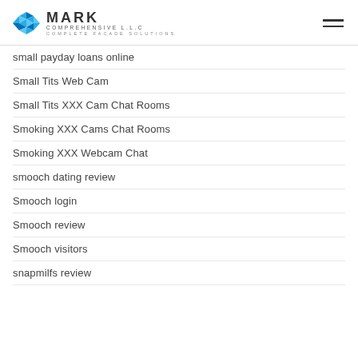MARK COMPREHENSIVE L.L.C — COMPLETE FACADE SOLUTIONS
small payday loans online
Small Tits Web Cam
Small Tits XXX Cam Chat Rooms
Smoking XXX Cams Chat Rooms
Smoking XXX Webcam Chat
smooch dating review
Smooch login
Smooch review
Smooch visitors
snapmilfs review